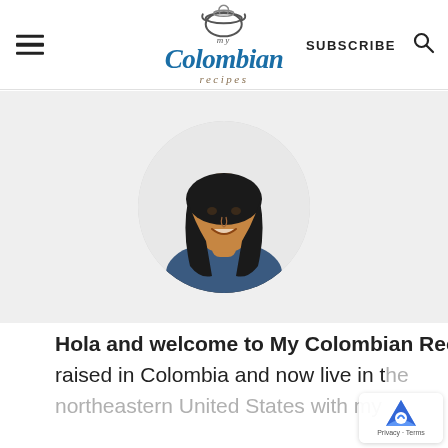My Colombian Recipes — SUBSCRIBE
[Figure (photo): Circular profile photo of Erica, a young woman with long dark hair, smiling, wearing a denim jacket over a black top, on a light background.]
Hola and welcome to My Colombian Recipes. My name is Erica and I was born and raised in Colombia and now live in the northeastern United States with my